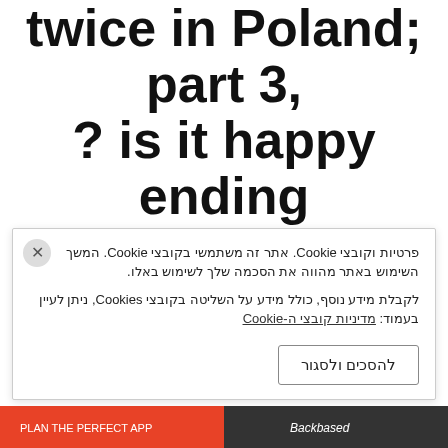twice in Poland; part 3, ? is it happy ending
יולי 1, 2015 ,פורסם ב-travel
Mess a bit Complicated, that in this post i will not in deep to details for privacy stuff.
few days before i flew to Warsaw, we Skype, for some reasons we decided not to meet. I'm
אתר זה משתמשי בקובצי Cookie. המשך השימוש באתר מהווה את הסכמה שלך לשימוש באלו. לקבלת מידע נוסף, כולל מידע על השליטה בקובצי Cookies, ניתן לעיין בעמוד: מדיניות קובצי ה-Cookie פרטיות וקובצי Cookie
להסכים ולסגור